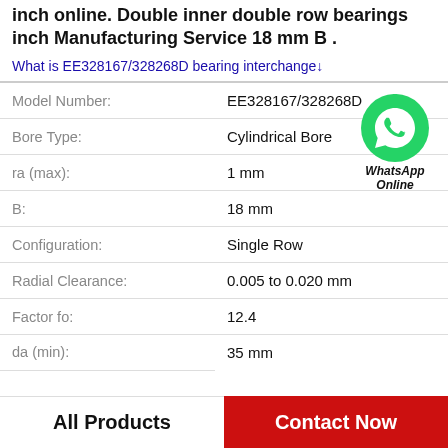inch online. Double inner double row bearings inch Manufacturing Service 18 mm B .
What is EE328167/328268D bearing interchange↓
| Property | Value |
| --- | --- |
| Model Number: | EE328167/328268D |
| Bore Type: | Cylindrical Bore |
| ra (max): | 1 mm |
| B: | 18 mm |
| Configuration: | Single Row |
| Radial Clearance: | 0.005 to 0.020 mm |
| Factor fo: | 12.4 |
| da (min): | 35 mm |
[Figure (illustration): WhatsApp Online green phone icon with WhatsApp Online label]
All Products
Contact Now